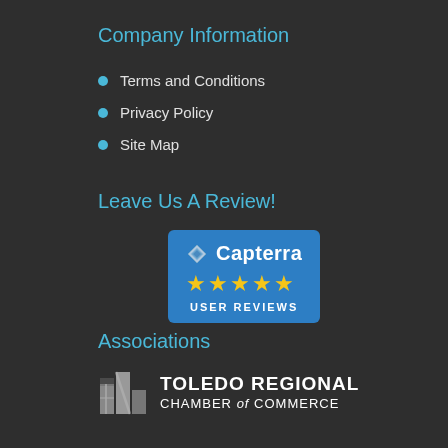Company Information
Terms and Conditions
Privacy Policy
Site Map
Leave Us A Review!
[Figure (logo): Capterra User Reviews badge with blue background, diamond logo, 5 gold stars, and 'USER REVIEWS' text]
Associations
[Figure (logo): Toledo Regional Chamber of Commerce logo with gray building icon and white text]